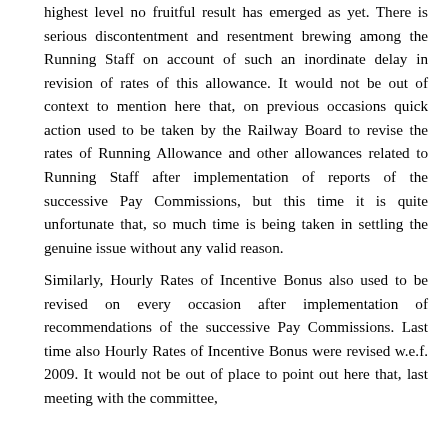highest level no fruitful result has emerged as yet. There is serious discontentment and resentment brewing among the Running Staff on account of such an inordinate delay in revision of rates of this allowance. It would not be out of context to mention here that, on previous occasions quick action used to be taken by the Railway Board to revise the rates of Running Allowance and other allowances related to Running Staff after implementation of reports of the successive Pay Commissions, but this time it is quite unfortunate that, so much time is being taken in settling the genuine issue without any valid reason.
Similarly, Hourly Rates of Incentive Bonus also used to be revised on every occasion after implementation of recommendations of the successive Pay Commissions. Last time also Hourly Rates of Incentive Bonus were revised w.e.f. 2009. It would not be out of place to point out here that, last meeting with the committee,